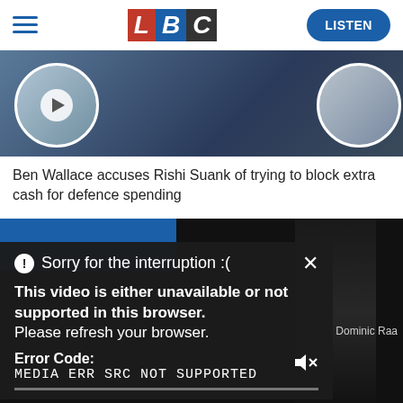LBC — LISTEN
[Figure (screenshot): LBC news website header with hamburger menu, LBC logo (red L, blue B, dark C), and blue LISTEN button]
[Figure (photo): Hero image showing two circular avatar photos of news presenters on a dark background, with a play button on the left avatar]
Ben Wallace accuses Rishi Suank of trying to block extra cash for defence spending
[Figure (screenshot): Video player showing error overlay message: Sorry for the interruption :(. This video is either unavailable or not supported in this browser. Please refresh your browser. Error Code: MEDIA ERR SRC NOT SUPPORTED. Mute icon and Dominic Raa text visible. Dark background with blue partial frame on left.]